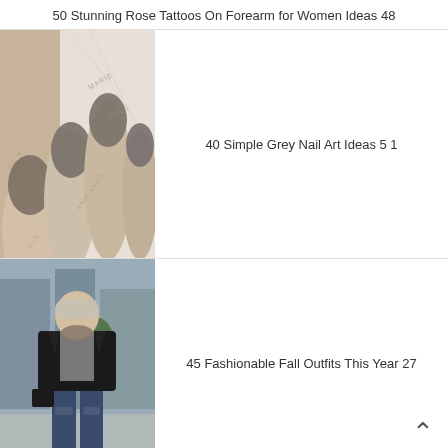50 Stunning Rose Tattoos On Forearm for Women Ideas 48
[Figure (photo): Close-up photo of hands with grey nail polish, branded Marie Nails]
40 Simple Grey Nail Art Ideas 5 1
[Figure (photo): Street style photo of woman wearing black leather jacket and ripped jeans]
45 Fashionable Fall Outfits This Year 27